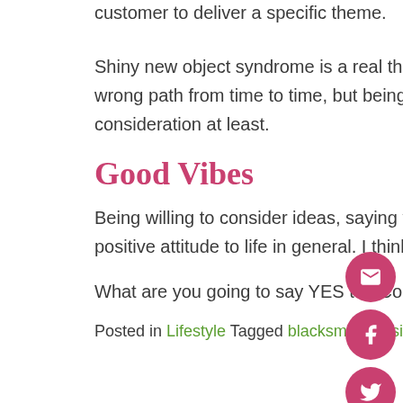customer to deliver a specific theme.
Shiny new object syndrome is a real thing – you can end up going down the wrong path from time to time, but being open to explore new possibilities is worth consideration at least.
Good Vibes
Being willing to consider ideas, saying yes to opportunities creates a can-do positive attitude to life in general. I think that's a really good thing.
What are you going to say YES to? Come and tell us your story.
Posted in Lifestyle Tagged blacksmith, business